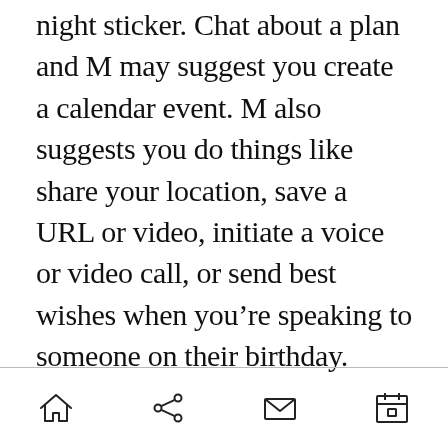night sticker. Chat about a plan and M may suggest you create a calendar event. M also suggests you do things like share your location, save a URL or video, initiate a voice or video call, or send best wishes when you’re speaking to someone on their birthday.
[navigation bar with home, share, mail, and calendar icons]